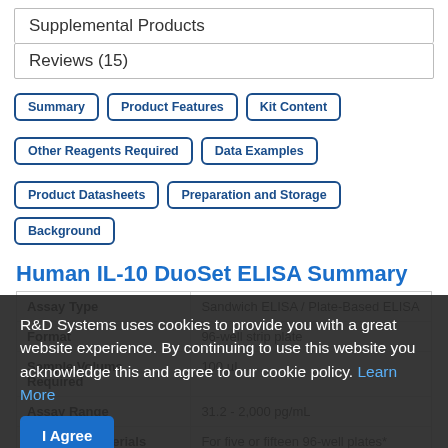Supplemental Products
Reviews (15)
Summary
Product Features
Kit Content
Other Reagents Required
Data Examples
Product Datasheets
Preparation and Storage
Background
Human IL-10 DuoSet ELISA Summary
| Attribute | Value |
| --- | --- |
| Format | 96-well strip plate |
| Sample Volume Required | 100 µL |
| Assay Range | 31.2 - 2,000 pg/mL |
| Sufficient Materials | For five or fifteen 96-well plates* |
| Specificity | Please see the product datasheet |
R&D Systems uses cookies to provide you with a great website experience. By continuing to use this website you acknowledge this and agree to our cookie policy. Learn More